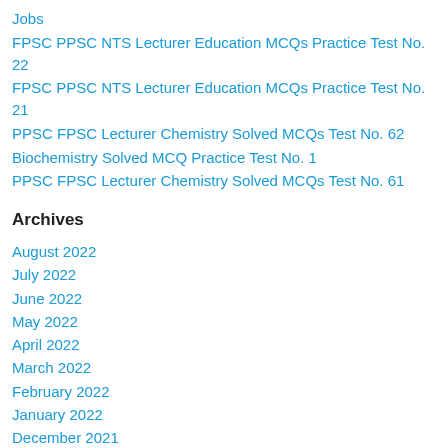Jobs
FPSC PPSC NTS Lecturer Education MCQs Practice Test No. 22
FPSC PPSC NTS Lecturer Education MCQs Practice Test No. 21
PPSC FPSC Lecturer Chemistry Solved MCQs Test No. 62
Biochemistry Solved MCQ Practice Test No. 1
PPSC FPSC Lecturer Chemistry Solved MCQs Test No. 61
Archives
August 2022
July 2022
June 2022
May 2022
April 2022
March 2022
February 2022
January 2022
December 2021
November 2021
October 2021
September 2021
August 2021